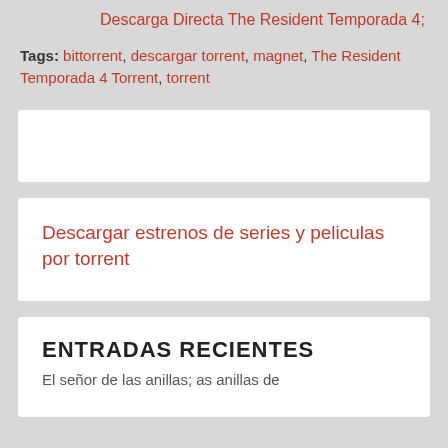Descarga Directa The Resident Temporada 4;
Tags: bittorrent, descargar torrent, magnet, The Resident Temporada 4 Torrent, torrent
[Figure (other): White box placeholder/ad area]
Descargar estrenos de series y peliculas por torrent
ENTRADAS RECIENTES
El señor de las anillas; Las anillas de...